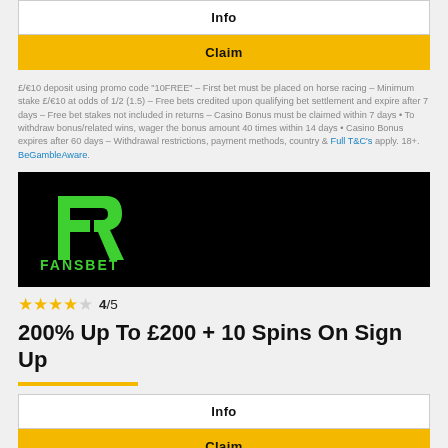Info
Claim
£/€10 deposit using promo code "10FREE" – First bet must be placed on horse racing – Minimum stake £/€10 at odds of 1/2 (1.5) – Free bets credited upon qualifying bet settlement and expire after 7 days – Free bet stakes not included in returns – Casino Bonus must be claimed within 7 days • To withdraw bonus/related wins, wager the bonus amount 40 times within 14 days • Casino Bonus expires after 60 days – Withdrawal restrictions, payment methods, country & Full T&C's apply. 18+. BeGambleAware.
[Figure (logo): FansBet logo on black background — green stylized F/B icon above FANSBET text in green]
4/5
200% Up To £200 + 10 Spins On Sign Up
Info
Claim